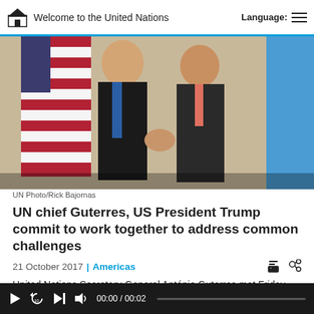Welcome to the United Nations | Language:
[Figure (photo): Two men in suits shaking hands in front of a United States flag and a United Nations flag backdrop.]
UN Photo/Rick Bajornas
UN chief Guterres, US President Trump commit to work together to address common challenges
21 October 2017 | Americas
United Nations Secretary-General António Guterres met Friday with United States President Donald Trump and